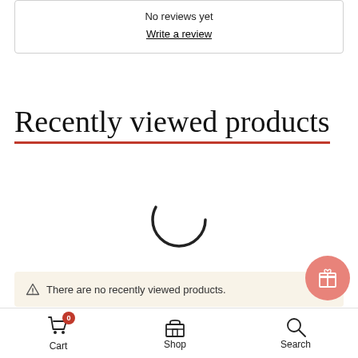No reviews yet
Write a review
Recently viewed products
[Figure (other): Loading spinner / circular progress indicator]
There are no recently viewed products.
Cart  Shop  Search